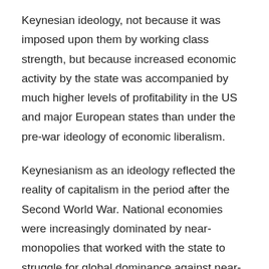Keynesian ideology, not because it was imposed upon them by working class strength, but because increased economic activity by the state was accompanied by much higher levels of profitability in the US and major European states than under the pre-war ideology of economic liberalism.
Keynesianism as an ideology reflected the reality of capitalism in the period after the Second World War. National economies were increasingly dominated by near-monopolies that worked with the state to struggle for global dominance against near-monopolies based in other national economies. The result was a seemingly relentless trend towards increased state involvement in capitalist accumulation that had begun in the 1880s. To those of us who were taught economics in the early